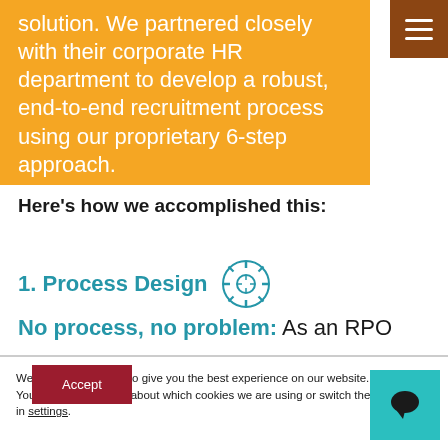solution. We partnered closely with their corporate HR department to develop a robust, end-to-end recruitment process using our proprietary 6-step approach.
Here's how we accomplished this:
1. Process Design
No process, no problem: As an RPO
We are using cookies to give you the best experience on our website. You can find out more about which cookies we are using or switch them off in settings.
Accept